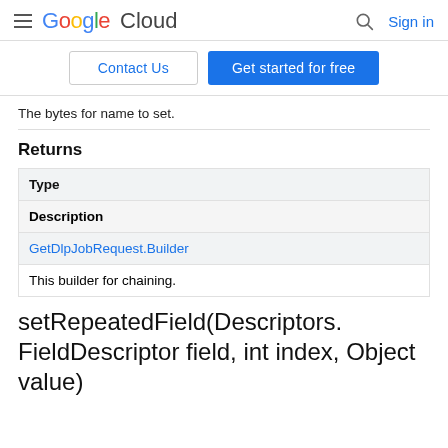Google Cloud  Sign in
Contact Us   Get started for free
The bytes for name to set.
Returns
| Type | Description |
| --- | --- |
| GetDlpJobRequest.Builder | This builder for chaining. |
setRepeatedField(Descriptors.FieldDescriptor field, int index, Object value)